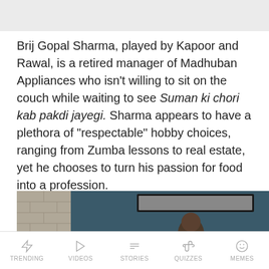Brij Gopal Sharma, played by Kapoor and Rawal, is a retired manager of Madhuban Appliances who isn't willing to sit on the couch while waiting to see Suman ki chori kab pakdi jayegi. Sharma appears to have a plethora of "respectable" hobby choices, ranging from Zumba lessons to real estate, yet he chooses to turn his passion for food into a profession.
[Figure (photo): Indoor scene showing a person seated, with brick wall on left, dark teal/blue background, and a framed picture on the wall behind.]
TRENDING  VIDEOS  STORIES  QUIZZES  MEMES